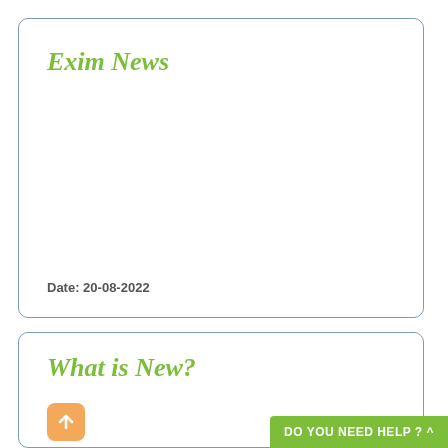Exim News
Date: 20-08-2022
What is New?
DO YOU NEED HELP ? ^